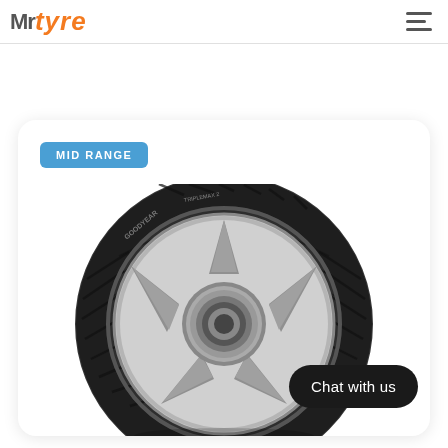Mr Tyre
[Figure (illustration): MID RANGE badge with a Goodyear Triplemax 2 tyre product image on an alloy wheel, shown in black and white]
Chat with us